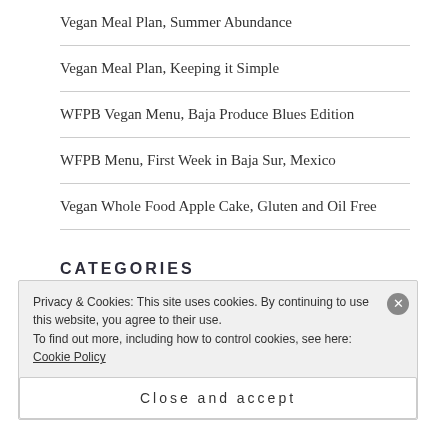Vegan Meal Plan, Summer Abundance
Vegan Meal Plan, Keeping it Simple
WFPB Vegan Menu, Baja Produce Blues Edition
WFPB Menu, First Week in Baja Sur, Mexico
Vegan Whole Food Apple Cake, Gluten and Oil Free
CATEGORIES
Privacy & Cookies: This site uses cookies. By continuing to use this website, you agree to their use.
To find out more, including how to control cookies, see here: Cookie Policy
Close and accept